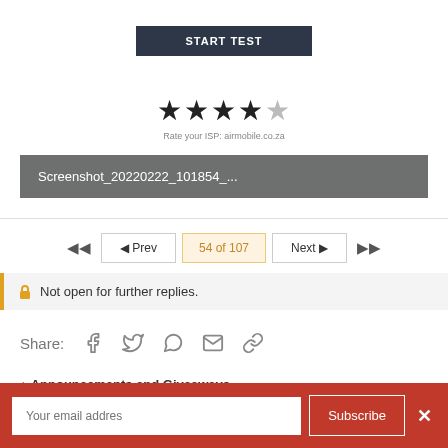[Figure (screenshot): START TEST button (dark background, white bold text)]
[Figure (screenshot): 4 out of 5 star rating widget with label 'Rate your ISP: airmobile.co.za']
[Figure (screenshot): Screenshot filename bar: Screenshot_20220222_101854_...]
[Figure (screenshot): Pagination navigation: << Prev | 54 of 107 | Next >> controls]
Not open for further replies.
Share: [facebook] [twitter] [whatsapp] [email] [link]
< Announcements and Giveaways
Your email addres  Subscribe  ×